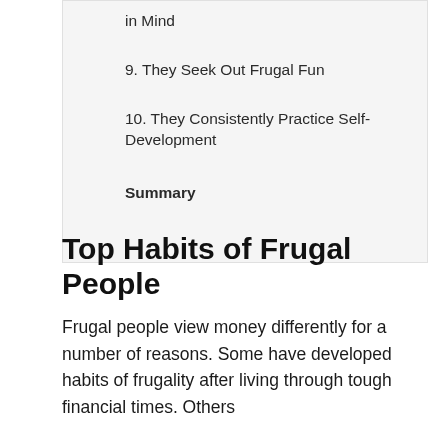in Mind
9. They Seek Out Frugal Fun
10. They Consistently Practice Self-Development
Summary
Top Habits of Frugal People
Frugal people view money differently for a number of reasons. Some have developed habits of frugality after living through tough financial times. Others